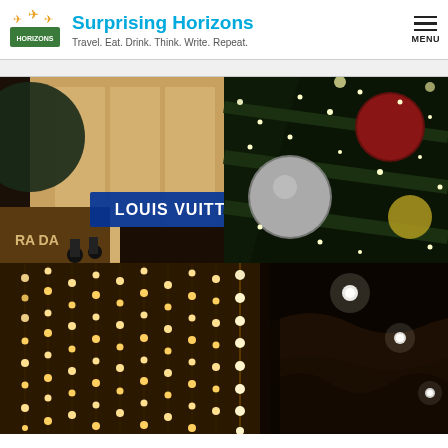Surprising Horizons — Travel. Eat. Drink. Think. Write. Repeat.
[Figure (photo): Night photo of a luxury shopping mall with Louis Vuitton store sign lit in blue, Prada visible on the left, and a large decorated Christmas tree with ornaments and lights on the right.]
[Figure (photo): Night photo showing a curtain of warm white fairy lights on the left half and a dark interior with ceiling spotlights on the right half.]